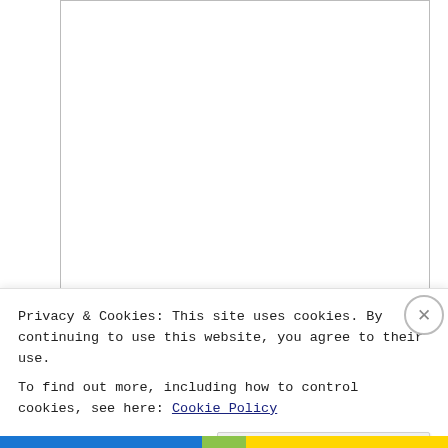[Figure (screenshot): A textarea form field (large empty text input box) with a resize handle at the bottom-right corner.]
Name *
[Figure (screenshot): A text input field labeled 'Name *' — a rectangular empty input box.]
Email *
Privacy & Cookies: This site uses cookies. By continuing to use this website, you agree to their use.
To find out more, including how to control cookies, see here: Cookie Policy
Close and accept